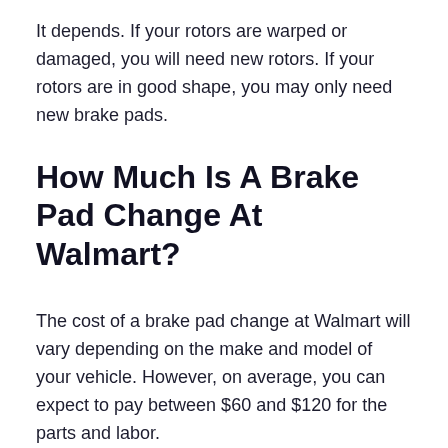It depends. If your rotors are warped or damaged, you will need new rotors. If your rotors are in good shape, you may only need new brake pads.
How Much Is A Brake Pad Change At Walmart?
The cost of a brake pad change at Walmart will vary depending on the make and model of your vehicle. However, on average, you can expect to pay between $60 and $120 for the parts and labor.